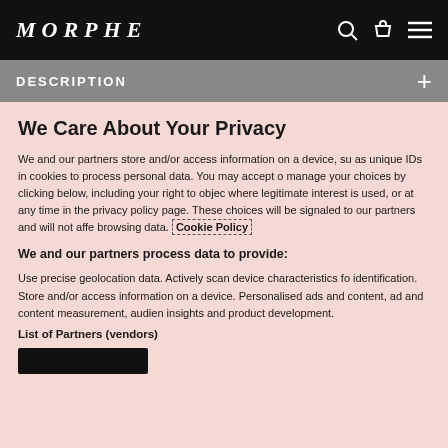MORPHE
DESCRIPTION
We Care About Your Privacy
We and our partners store and/or access information on a device, su as unique IDs in cookies to process personal data. You may accept o manage your choices by clicking below, including your right to objec where legitimate interest is used, or at any time in the privacy policy page. These choices will be signaled to our partners and will not affe browsing data. Cookie Policy
We and our partners process data to provide:
Use precise geolocation data. Actively scan device characteristics fo identification. Store and/or access information on a device. Personalised ads and content, ad and content measurement, audien insights and product development.
List of Partners (vendors)